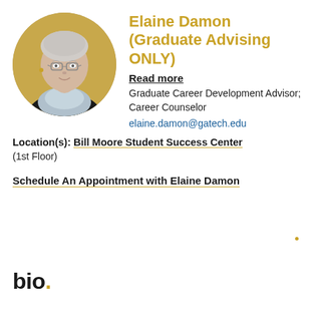[Figure (photo): Circular portrait photo of Elaine Damon, an older woman with short white/gray hair, glasses, wearing a dark jacket and light gray scarf, against a gold/tan background.]
Elaine Damon (Graduate Advising ONLY)
Read more
Graduate Career Development Advisor; Career Counselor
elaine.damon@gatech.edu
Location(s): Bill Moore Student Success Center
(1st Floor)
Schedule An Appointment with Elaine Damon
bio.